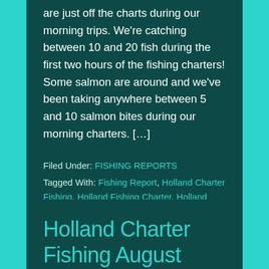are just off the charts during our morning trips.  We're catching between 10 and 20 fish during the first two hours of the fishing charters!  Some salmon are around and we've been taking anywhere between 5 and 10 salmon bites during our morning charters. […]
Filed Under: FISHING REPORTS
Tagged With: Fishing Report, Holland Charter Fishing, Holland Fishing Charter, Holland Michigan, King Salmon, Lake Michigan Fishing Charter, Salmon Fishing Charters
Holland Charter Fishing August